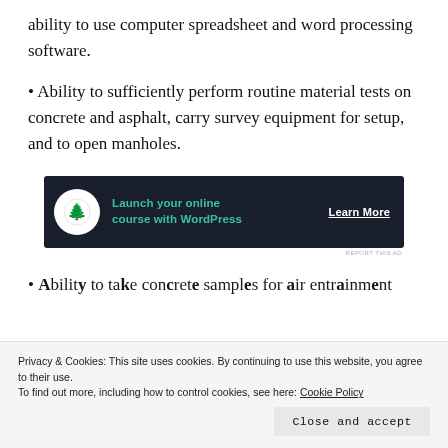ability to use computer spreadsheet and word processing software.
• Ability to sufficiently perform routine material tests on concrete and asphalt, carry survey equipment for setup, and to open manholes.
[Figure (other): Advertisement banner: dark navy background with a white circle logo containing a tree/person icon, teal text reading 'Launch your online course with WordPress', and white underlined text 'Learn More']
• Ability to take concrete samples for air entrainment...
Privacy & Cookies: This site uses cookies. By continuing to use this website, you agree to their use. To find out more, including how to control cookies, see here: Cookie Policy